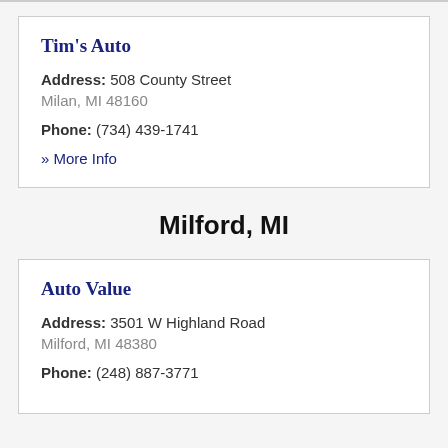Tim's Auto
Address: 508 County Street
Milan, MI 48160
Phone: (734) 439-1741
» More Info
Milford, MI
Auto Value
Address: 3501 W Highland Road
Milford, MI 48380
Phone: (248) 887-3771